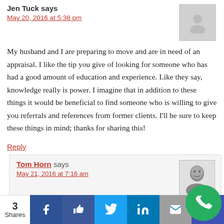Jen Tuck says
May 20, 2016 at 5:38 pm
My husband and I are preparing to move and are in need of an appraisal. I like the tip you give of looking for someone who has had a good amount of education and experience. Like they say, knowledge really is power. I imagine that in addition to these things it would be beneficial to find someone who is willing to give you referrals and references from former clients. I'll be sure to keep these things in mind; thanks for sharing this!
Reply
Tom Horn says
May 21, 2016 at 7:16 am
Thanks for reading Jen. Asking for referrals (or references) is a good way to check out the quality of ser for an appraiser. Keep in mind that work quality means
3 Shares